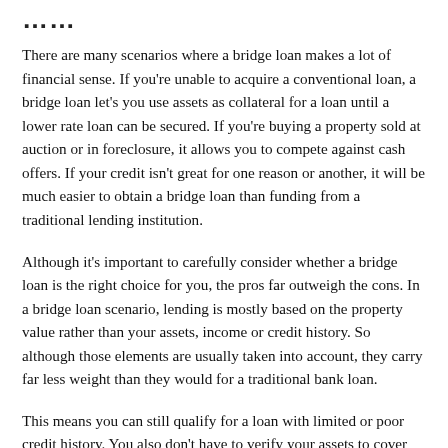There are many scenarios where a bridge loan makes a lot of financial sense. If you're unable to acquire a conventional loan, a bridge loan let's you use assets as collateral for a loan until a lower rate loan can be secured. If you're buying a property sold at auction or in foreclosure, it allows you to compete against cash offers. If your credit isn't great for one reason or another, it will be much easier to obtain a bridge loan than funding from a traditional lending institution.
Although it's important to carefully consider whether a bridge loan is the right choice for you, the pros far outweigh the cons. In a bridge loan scenario, lending is mostly based on the property value rather than your assets, income or credit history. So although those elements are usually taken into account, they carry far less weight than they would for a traditional bank loan.
This means you can still qualify for a loan with limited or poor credit history. You also don't have to verify your assets to cover any costs, giving you the flexibility to use funds from a